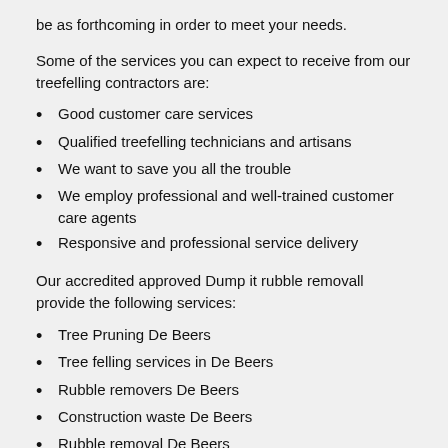be as forthcoming in order to meet your needs.
Some of the services you can expect to receive from our treefelling contractors are:
Good customer care services
Qualified treefelling technicians and artisans
We want to save you all the trouble
We employ professional and well-trained customer care agents
Responsive and professional service delivery
Our accredited approved Dump it rubble removall provide the following services:
Tree Pruning De Beers
Tree felling services in De Beers
Rubble removers De Beers
Construction waste De Beers
Rubble removal De Beers
Tree felling cost De Beers
Professional tree fellers De Beers
Tree felling in De Beers
Tree felling De Beers
Tree cutters De Beers
Dump it rubble removall De Beers
Rubble removal in De Beers
Tree stump removal De Beers
Tree fellers De Beers